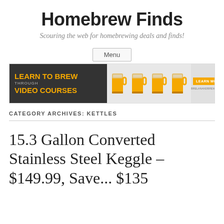Homebrew Finds
Scouring the web for homebrewing deals and finds!
[Figure (screenshot): Navigation menu button labeled 'Menu']
[Figure (illustration): Advertisement banner: LEARN TO BREW THROUGH VIDEO COURSES with beer mug illustrations and LEARN MORE button]
CATEGORY ARCHIVES: KETTLES
15.3 Gallon Converted Stainless Steel Keggle – $149.99, Save... $135